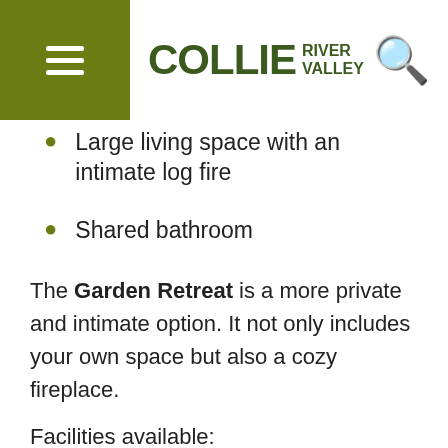COLLIE RIVER VALLEY
Large living space with an intimate log fire
Shared bathroom
The Garden Retreat is a more private and intimate option. It not only includes your own space but also a cozy fireplace.
Facilities available:
Own entrance
One queen bed